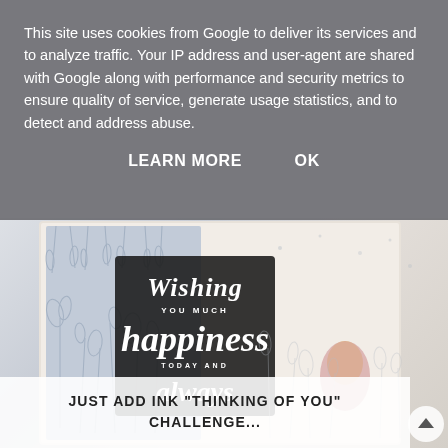This site uses cookies from Google to deliver its services and to analyze traffic. Your IP address and user-agent are shared with Google along with performance and security metrics to ensure quality of service, generate usage statistics, and to detect and address abuse.
LEARN MORE    OK
[Figure (photo): Close-up photo of a handmade greeting card that reads 'Wishing you much happiness today and always' in decorative script, with floral illustrations in the background. A figure with blonde hair is partially visible. The card has a blue-grey panel with botanical line drawings.]
JUST ADD INK "THINKING OF YOU" CHALLENGE...